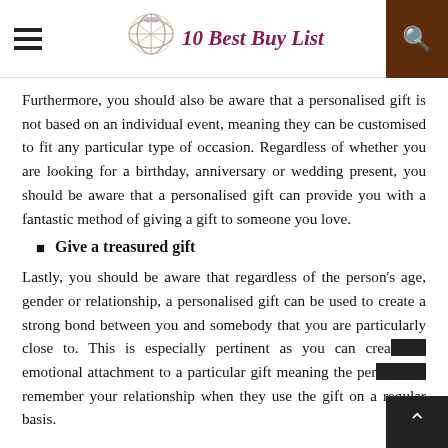10 Best Buy List
Furthermore, you should also be aware that a personalised gift is not based on an individual event, meaning they can be customised to fit any particular type of occasion. Regardless of whether you are looking for a birthday, anniversary or wedding present, you should be aware that a personalised gift can provide you with a fantastic method of giving a gift to someone you love.
Give a treasured gift
Lastly, you should be aware that regardless of the person's age, gender or relationship, a personalised gift can be used to create a strong bond between you and somebody that you are particularly close to. This is especially pertinent as you can create an emotional attachment to a particular gift meaning the person will remember your relationship when they use the gift on a regular basis.